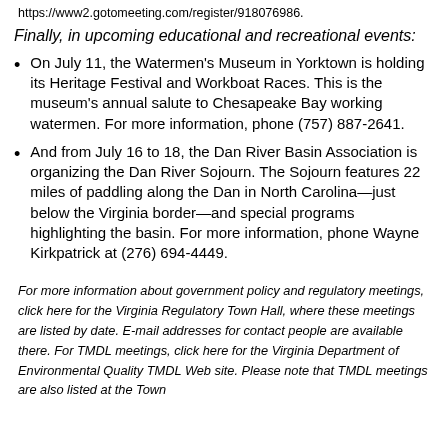https://www2.gotomeeting.com/register/918076986.
Finally, in upcoming educational and recreational events:
On July 11, the Watermen's Museum in Yorktown is holding its Heritage Festival and Workboat Races. This is the museum's annual salute to Chesapeake Bay working watermen. For more information, phone (757) 887-2641.
And from July 16 to 18, the Dan River Basin Association is organizing the Dan River Sojourn. The Sojourn features 22 miles of paddling along the Dan in North Carolina—just below the Virginia border—and special programs highlighting the basin. For more information, phone Wayne Kirkpatrick at (276) 694-4449.
For more information about government policy and regulatory meetings, click here for the Virginia Regulatory Town Hall, where these meetings are listed by date. E-mail addresses for contact people are available there. For TMDL meetings, click here for the Virginia Department of Environmental Quality TMDL Web site. Please note that TMDL meetings are also listed at the Town...